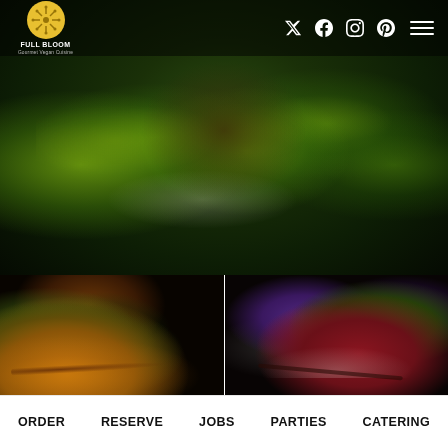Full Bloom Gourmet Vegan Cuisine — navigation with Twitter, Facebook, Instagram, Yelp icons and hamburger menu
[Figure (photo): Top food photo showing lime slices and Asian-style gourmet vegan dish in dark bowl with garnishes]
[Figure (photo): Bottom-left food photo showing braised/roasted protein on golden puree with green vegetables and sauce]
[Figure (photo): Bottom-right food photo showing roasted beets salad with purple microgreens and balsamic drizzle on white plate]
[Figure (photo): Bottom-left corner dark ambiance photo of food dish with microgreens]
[Figure (photo): Bottom-right corner warm ambient restaurant interior with string lights]
ORDER   RESERVE   JOBS   PARTIES   CATERING